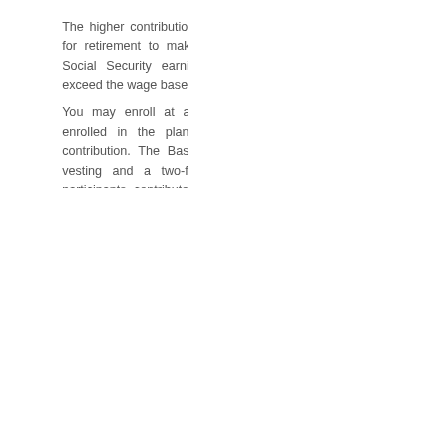The higher contribution restrict permits you to save extra for retirement to make up for the diminishing worth of Social Security earnings benefits once your earnings exceed the wage base.

You may enroll at any time, however you should be enrolled in the plan in order to obtain the college contribution. The Basic Retirement Plan provides quick vesting and a two-for-one university match. Enrolled participants contribute 5% of eligible compensation and after a 12-month ready period, the college contributes 10% of eligible compensation. The Hub Basic Needs Center's mission is to deal with the gaps and